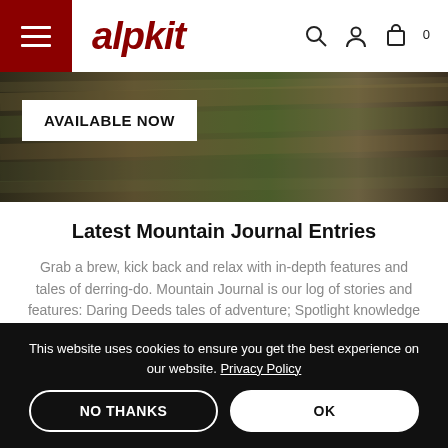alpkit navigation bar with hamburger menu, search, account, and cart icons
[Figure (screenshot): Hero banner image with blurred outdoor/nature background in dark green-brown tones, with a white badge overlay reading AVAILABLE NOW]
Latest Mountain Journal Entries
Grab a brew, kick back and relax with in-depth features and tales of derring-do. Mountain Journal is our log of stories and features: Daring Deeds tales of adventure; Spotlight knowledge base; Develop designers notes; Alpkit Foundation awards and News. Dive in discover a
This website uses cookies to ensure you get the best experience on our website. Privacy Policy
NO THANKS
OK